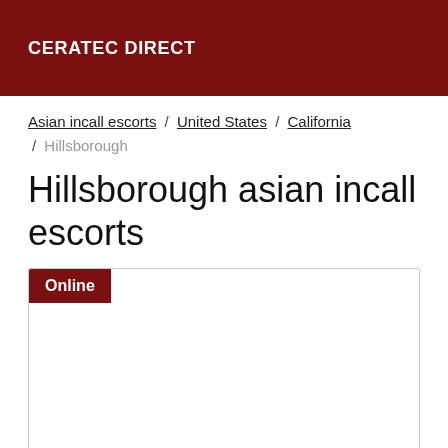CERATEC DIRECT
Asian incall escorts / United States / California / Hillsborough
Hillsborough asian incall escorts
[Figure (other): A listing card area with an 'Online' badge in dark red at the top left corner, and an otherwise blank white card with a border.]